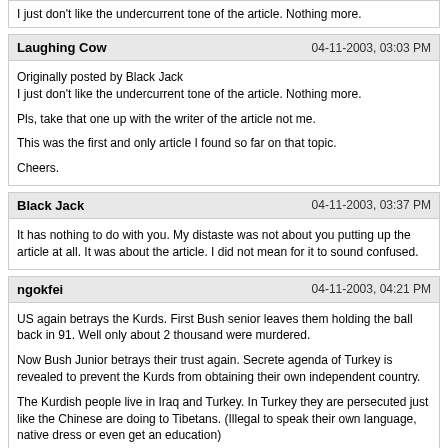I just don't like the undercurrent tone of the article. Nothing more.
Laughing Cow    04-11-2003, 03:03 PM
Originally posted by Black Jack
I just don't like the undercurrent tone of the article. Nothing more.

Pls, take that one up with the writer of the article not me.

This was the first and only article I found so far on that topic.

Cheers.
Black Jack    04-11-2003, 03:37 PM
It has nothing to do with you. My distaste was not about you putting up the article at all. It was about the article. I did not mean for it to sound confused.
ngokfei    04-11-2003, 04:21 PM
US again betrays the Kurds. First Bush senior leaves them holding the ball back in 91. Well only about 2 thousand were murdered.

Now Bush Junior betrays their trust again. Secrete agenda of Turkey is revealed to prevent the Kurds from obtaining their own independent country.

The Kurdish people live in Iraq and Turkey. In Turkey they are persecuted just like the Chinese are doing to Tibetans. (Illegal to speak their own language, native dress or even get an education)

What do we have to do wait for an ethnic cleansing like the Nazi's did to the Jews. Then out of guilt take over palestinian land and give it to them. (really the world foundout that we knew as early as 1942 what the nazi's were doing and just ignored it as the US actually hates Jews as much as they hate Blacks).